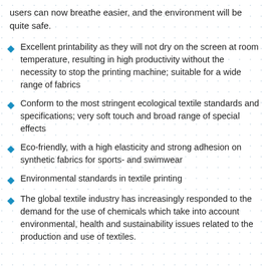users can now breathe easier, and the environment will be quite safe.
Excellent printability as they will not dry on the screen at room temperature, resulting in high productivity without the necessity to stop the printing machine; suitable for a wide range of fabrics
Conform to the most stringent ecological textile standards and specifications; very soft touch and broad range of special effects
Eco-friendly, with a high elasticity and strong adhesion on synthetic fabrics for sports- and swimwear
Environmental standards in textile printing
The global textile industry has increasingly responded to the demand for the use of chemicals which take into account environmental, health and sustainability issues related to the production and use of textiles.